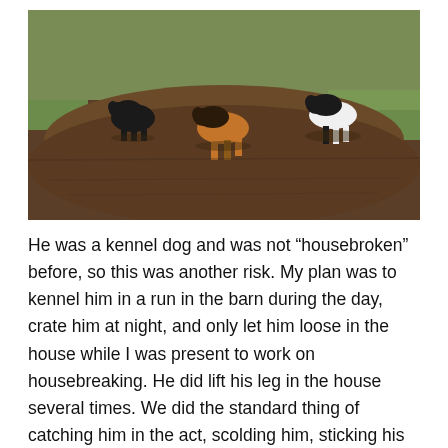[Figure (photo): Three dogs standing on a dirt mound or freshly dug-up earth in a grassy field. One black dog on the left, one tricolor dog in the center, and one black-and-white dog on the right.]
He was a kennel dog and was not “housebroken” before, so this was another risk. My plan was to kennel him in a run in the barn during the day, crate him at night, and only let him loose in the house while I was present to work on housebreaking. He did lift his leg in the house several times. We did the standard thing of catching him in the act, scolding him, sticking his nose in the pee, and escorting him out the dog door to try to communicate the right place to pee. By the next Saturday, it was a nice day out, and he